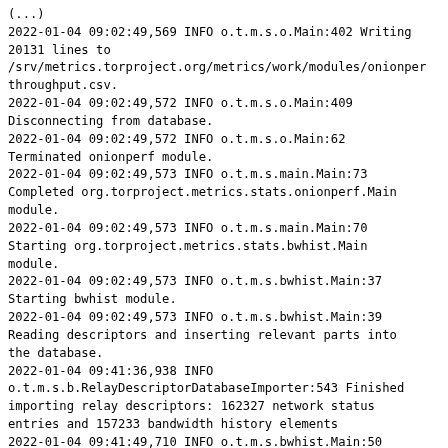(...)  2022-01-04 09:02:49,569 INFO o.t.m.s.o.Main:402 Writing 20131 lines to /srv/metrics.torproject.org/metrics/work/modules/onionperf throughput.csv.
2022-01-04 09:02:49,572 INFO o.t.m.s.o.Main:409 Disconnecting from database.
2022-01-04 09:02:49,572 INFO o.t.m.s.o.Main:62 Terminated onionperf module.
2022-01-04 09:02:49,573 INFO o.t.m.s.main.Main:73 Completed org.torproject.metrics.stats.onionperf.Main module.
2022-01-04 09:02:49,573 INFO o.t.m.s.main.Main:70 Starting org.torproject.metrics.stats.bwhist.Main module.
2022-01-04 09:02:49,573 INFO o.t.m.s.bwhist.Main:37 Starting bwhist module.
2022-01-04 09:02:49,573 INFO o.t.m.s.bwhist.Main:39 Reading descriptors and inserting relevant parts into the database.
2022-01-04 09:41:36,938 INFO o.t.m.s.b.RelayDescriptorDatabaseImporter:543 Finished importing relay descriptors: 162327 network status entries and 157233 bandwidth history elements
2022-01-04 09:41:49,710 INFO o.t.m.s.bwhist.Main:50 Aggregating database entries.
2022-01-04 09:44:44,853 INFO o.t.m.s.b.RelayDescriptorDatabaseImporter:543 Finished importing relay descriptors: 162327 network status entries and 157233 bandwidth history elements
2022-01-04 09:44:47,098 INFO o.t.m.s.bwhist.Main:53